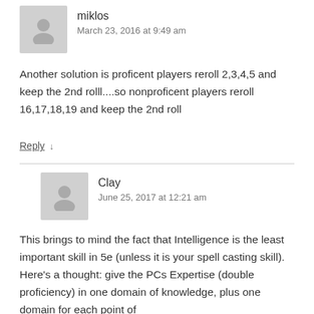miklos
March 23, 2016 at 9:49 am
Another solution is proficent players reroll 2,3,4,5 and keep the 2nd rolll....so nonproficent players reroll 16,17,18,19 and keep the 2nd roll
Reply ↓
Clay
June 25, 2017 at 12:21 am
This brings to mind the fact that Intelligence is the least important skill in 5e (unless it is your spell casting skill). Here's a thought: give the PCs Expertise (double proficiency) in one domain of knowledge, plus one domain for each point of